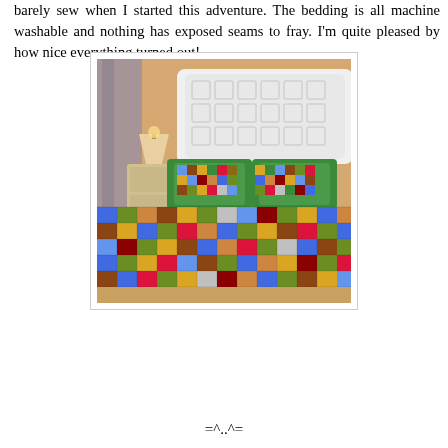barely sew when I started this adventure. The bedding is all machine washable and nothing has exposed seams to fray. I'm quite pleased by how nice everything turned out!
[Figure (photo): A colorful patchwork quilt on a bed with a white ornate headboard, green pillow shams, and matching patchwork pillows. A lamp and nightstand are visible in the background.]
=^..^=